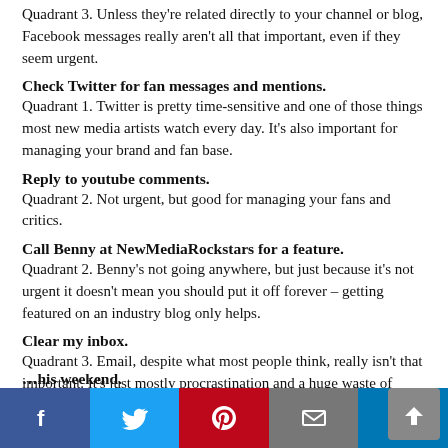Quadrant 3. Unless they're related directly to your channel or blog, Facebook messages really aren't all that important, even if they seem urgent.
Check Twitter for fan messages and mentions.
Quadrant 1. Twitter is pretty time-sensitive and one of those things most new media artists watch every day. It's also important for managing your brand and fan base.
Reply to youtube comments.
Quadrant 2. Not urgent, but good for managing your fans and critics.
Call Benny at NewMediaRockstars for a feature.
Quadrant 2. Benny's not going anywhere, but just because it's not urgent it doesn't mean you should put it off forever – getting featured on an industry blog only helps.
Clear my inbox.
Quadrant 3. Email, despite what most people think, really isn't that important. It's just mostly procrastination and a huge waste of time. If anything is super urgent, people will call you.
…his weekend.